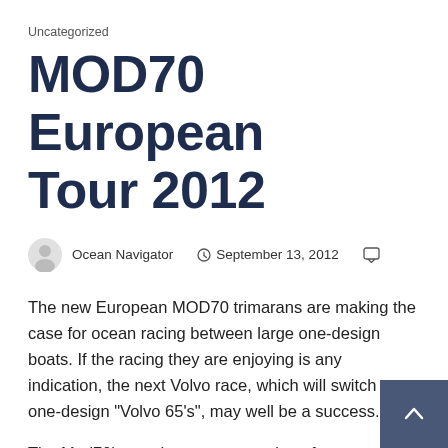Uncategorized
MOD70 European Tour 2012
Ocean Navigator  ·  September 13, 2012
The new European MOD70 trimarans are making the case for ocean racing between large one-design boats. If the racing they are enjoying is any indication, the next Volvo race, which will switch to one-design "Volvo 65's", may well be a success.
The Mod70's are the next generation of ocean going trimarans, an improvement on the ORMA 60s that have been around for several years.